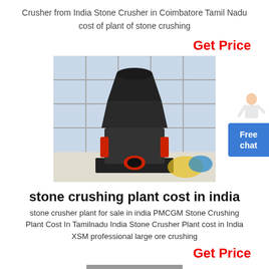Crusher from India Stone Crusher in Coimbatore Tamil Nadu cost of plant of stone crushing
Get Price
[Figure (photo): Industrial cone crusher machine in a factory/warehouse setting with large windows in the background]
[Figure (illustration): Customer service representative figure (person with headset)]
Free chat
stone crushing plant cost in india
stone crusher plant for sale in india PMCGM Stone Crushing Plant Cost In Tamilnadu India Stone Crusher Plant cost in India XSM professional large ore crushing
Get Price
[Figure (photo): Partially visible machinery photo at bottom of page]